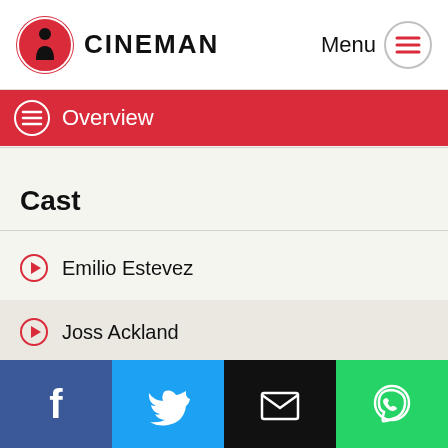CINEMAN — Menu
Overview
Cast
Emilio Estevez
Joss Ackland
Lane Smith
Show all
Facebook | Twitter | Email | WhatsApp